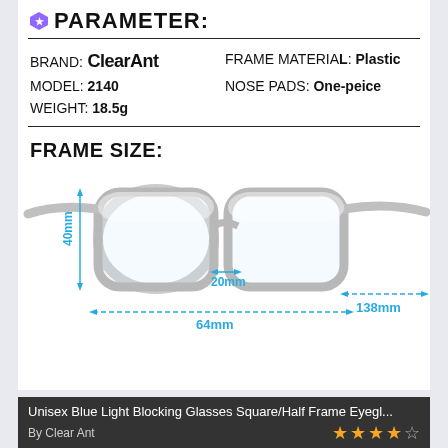PARAMETER:
| BRAND: | ClearAnt | FRAME MATERIAL: | Plastic |
| MODEL: | 2140 | NOSE PADS: | One-peice |
| WEIGHT: | 18.5g |  |  |
FRAME SIZE:
[Figure (engineering-diagram): Clear plastic eyeglasses with dimension annotations: 40mm height, 20mm bridge width, 64mm lens width, 138mm temple length. Dashed blue measurement arrows.]
Unisex Blue Light Blocking Glasses Square/Half Frame Eyegl...
By Clear Ant